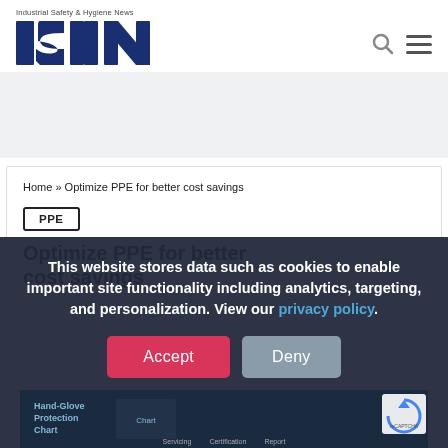Industrial Safety & Hygiene News — ISHN logo with search and menu icons
[Figure (logo): ISHN logo — Industrial Safety & Hygiene News in bold dark blue block letters]
[Figure (other): Gray advertisement banner area]
Home » Optimize PPE for better cost savings
PPE
Optimize PPE for better cost savings (article title, partially obscured)
This website stores data such as cookies to enable important site functionality including analytics, targeting, and personalization. View our privacy policy.
Accept
Deny
[Figure (other): Hand-Glove Protection Chart preview image in dark blue strip at bottom]